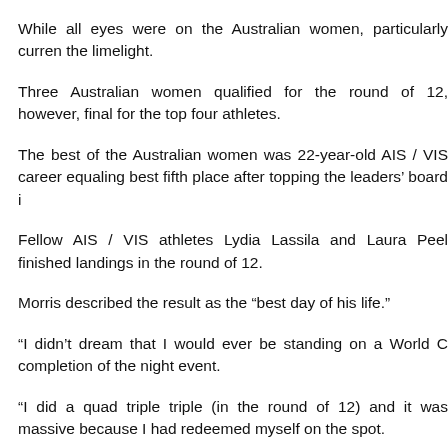While all eyes were on the Australian women, particularly curren the limelight.
Three Australian women qualified for the round of 12, however, final for the top four athletes.
The best of the Australian women was 22-year-old AIS / VIS career equaling best fifth place after topping the leaders' board i
Fellow AIS / VIS athletes Lydia Lassila and Laura Peel finished landings in the round of 12.
Morris described the result as the “best day of his life.”
“I didn’t dream that I would ever be standing on a World C completion of the night event.
“I did a quad triple triple (in the round of 12) and it was massive because I had redeemed myself on the spot.